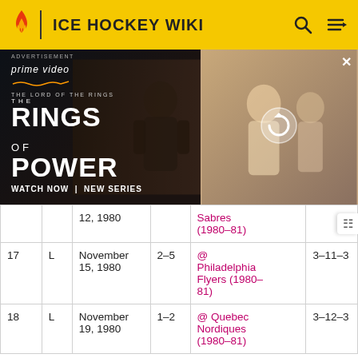ICE HOCKEY WIKI
[Figure (photo): Amazon Prime Video advertisement for 'The Lord of the Rings: The Rings of Power' new series, showing armored fantasy characters. Text reads: ADVERTISEMENT, prime video, THE LORD OF THE RINGS, THE, RINGS OF POWER, WATCH NOW | NEW SERIES]
| # | W/L | Date | Score | Opponent | Record |
| --- | --- | --- | --- | --- | --- |
|  |  | 12, 1980 |  | Sabres (1980–81) |  |
| 17 | L | November 15, 1980 | 2–5 | @ Philadelphia Flyers (1980–81) | 3–11–3 |
| 18 | L | November 19, 1980 | 1–2 | @ Quebec Nordiques (1980–81) | 3–12–3 |